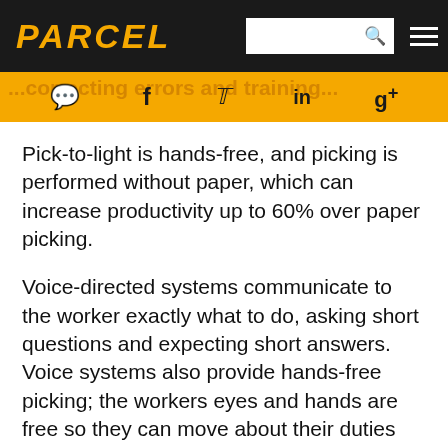PARCEL
[Figure (other): Social media icon bar with chat bubble, Facebook, Twitter, LinkedIn, and Google+ icons on orange background with partial text overlay reading 'correcting errors and training']
Pick-to-light is hands-free, and picking is performed without paper, which can increase productivity up to 60% over paper picking.
Voice-directed systems communicate to the worker exactly what to do, asking short questions and expecting short answers. Voice systems also provide hands-free picking; the workers eyes and hands are free so they can move about their duties with maximum efficiency. This system also allows workers to notify host